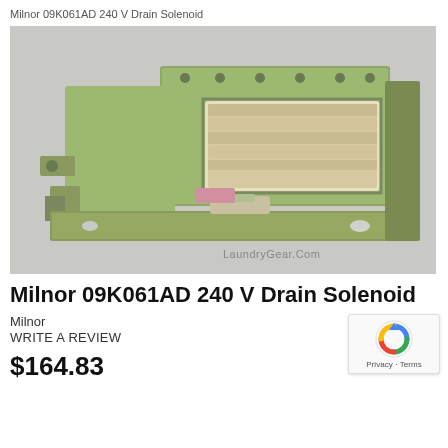Milnor 09K061AD 240 V Drain Solenoid
[Figure (photo): Photo of a Milnor 09K061AD 240V Drain Solenoid — a metal electromechanical solenoid device with gold/zinc-plated body, mounting bracket, and visible coil winding. Watermark reads 'LaundryGear.Com'.]
Milnor 09K061AD 240 V Drain Solenoid
Milnor
WRITE A REVIEW
$164.83